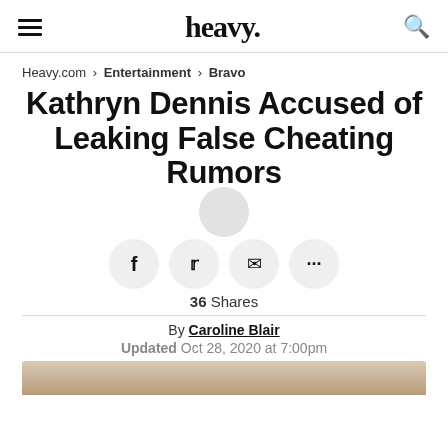heavy.
Heavy.com > Entertainment > Bravo
Kathryn Dennis Accused of Leaking False Cheating Rumors
[Figure (other): Social sharing buttons: Facebook, Twitter, Email, More (...)]
36 Shares
By Caroline Blair
Updated Oct 28, 2020 at 7:00pm
[Figure (photo): Partial image at bottom of page]